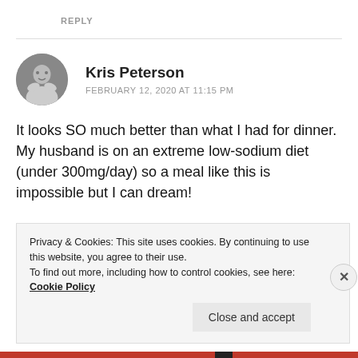REPLY
Kris Peterson
FEBRUARY 12, 2020 AT 11:15 PM
It looks SO much better than what I had for dinner. My husband is on an extreme low-sodium diet (under 300mg/day) so a meal like this is impossible but I can dream!
Privacy & Cookies: This site uses cookies. By continuing to use this website, you agree to their use.
To find out more, including how to control cookies, see here: Cookie Policy
Close and accept